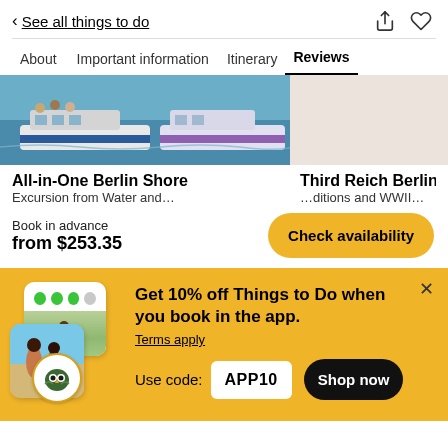< See all things to do
About  Important information  Itinerary  Reviews
[Figure (photo): Two river cruise boats on water in Berlin, viewed from waterside. Left boat has blue stripe, right boat has purple/pink stripe.]
All-in-One Berlin Shore  Third Reich Berlin …
Book in advance
from $253.35
Check availability
[Figure (infographic): TripAdvisor app promotion banner with phone mockup showing green dots rating, hiker photo card, beach photo card, and owl logo badge. Yellow background.]
Get 10% off Things to Do when you book in the app.
Terms apply
Use code:  APP10
Shop now